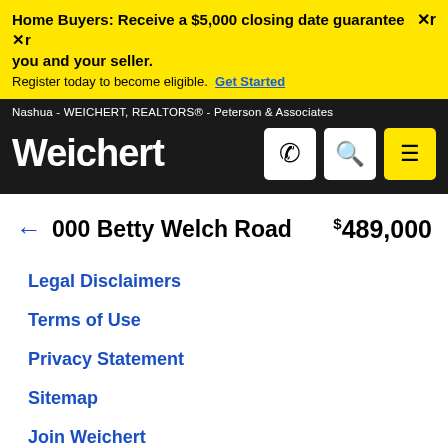Home Buyers: Receive a $5,000 closing date guarantee Xr you and your seller. Register today to become eligible. Get Started
Nashua - WEICHERT, REALTORS® - Peterson & Associates
Weichert
000 Betty Welch Road  $489,000
Legal Disclaimers
Terms of Use
Privacy Statement
Sitemap
Join Weichert
Accessibility